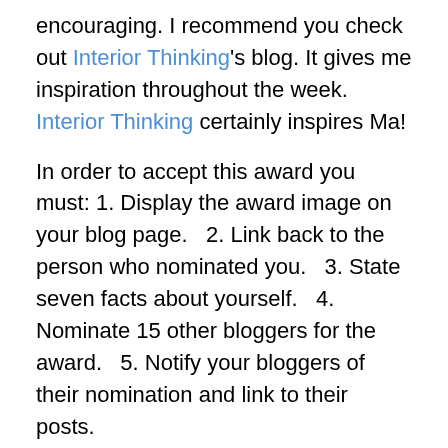encouraging. I recommend you check out Interior Thinking's blog. It gives me inspiration throughout the week. Interior Thinking certainly inspires Ma!
In order to accept this award you must: 1. Display the award image on your blog page.   2. Link back to the person who nominated you.   3. State seven facts about yourself.   4. Nominate 15 other bloggers for the award.   5. Notify your bloggers of their nomination and link to their posts.
I do accept this award! So here are 7 facts about me. Here it goes!   1. I received my Masters in Art from New York University in conjunction with the International Center of Photography.   2. Driving around (for the kids to nap) and listening to music while daydreaming is fun… and